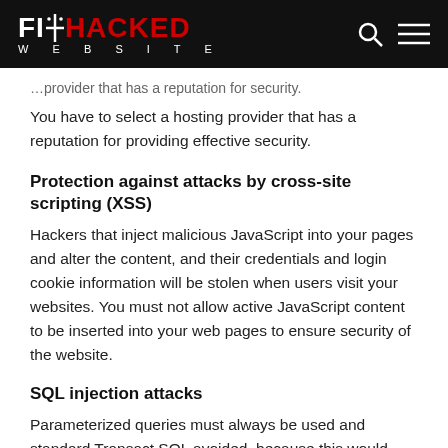FIX HACKED WEBSITE
You have to select a hosting provider that has a reputation for providing effective security.
Protection against attacks by cross-site scripting (XSS)
Hackers that inject malicious JavaScript into your pages and alter the content, and their credentials and login cookie information will be stolen when users visit your websites. You must not allow active JavaScript content to be inserted into your web pages to ensure security of the website.
SQL injection attacks
Parameterized queries must always be used and standard Transact SQL avoided, because this would allow hackers to insert rogue code.